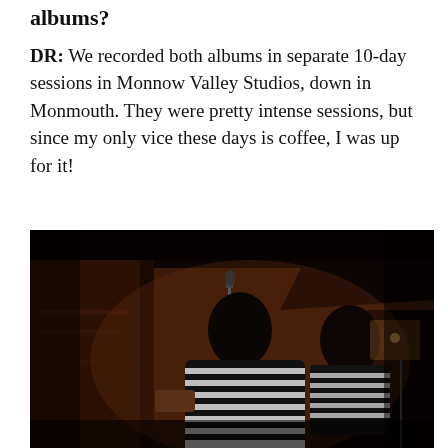albums?
DR: We recorded both albums in separate 10-day sessions in Monnow Valley Studios, down in Monmouth. They were pretty intense sessions, but since my only vice these days is coffee, I was up for it!
[Figure (photo): A musician in a black and white striped shirt playing guitar in a dimly lit recording studio, with microphone stands visible and dark wooden beams in the background. The image has warm, dark tones.]